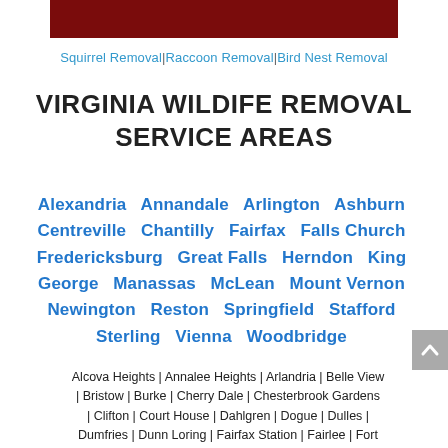[Figure (other): Dark red/maroon header banner image]
Squirrel Removal | Raccoon Removal | Bird Nest Removal
VIRGINIA WILDIFE REMOVAL SERVICE AREAS
Alexandria  Annandale  Arlington  Ashburn  Centreville  Chantilly  Fairfax  Falls Church  Fredericksburg  Great Falls  Herndon  King George  Manassas  McLean  Mount Vernon  Newington  Reston  Springfield  Stafford  Sterling  Vienna  Woodbridge
Alcova Heights | Annalee Heights | Arlandria | Belle View | Bristow | Burke | Cherry Dale | Chesterbrook Gardens | Clifton | Court House | Dahlgren | Dogue | Dulles | Dumfries | Dunn Loring | Fairfax Station | Fairlee | Fort Belvoir | Fort Hunt | Fort Myer | Franconia | Gainesville | Garrisonville | Glencarlyn | Groveton | Haymarket |